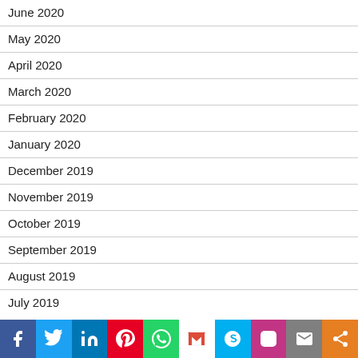June 2020
May 2020
April 2020
March 2020
February 2020
January 2020
December 2019
November 2019
October 2019
September 2019
August 2019
July 2019
[Figure (infographic): Social sharing bar with icons: Facebook, Twitter, LinkedIn, Pinterest, WhatsApp, Gmail, Skype, Instagram, Email, Share]